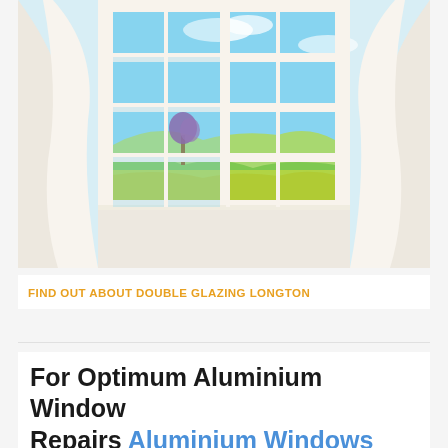[Figure (illustration): Illustration of a bright open French window with white curtains on both sides, showing a sunny green field and blue sky outside through the window panes.]
FIND OUT ABOUT DOUBLE GLAZING LONGTON
For Optimum Aluminium Window Repairs Aluminium Windows